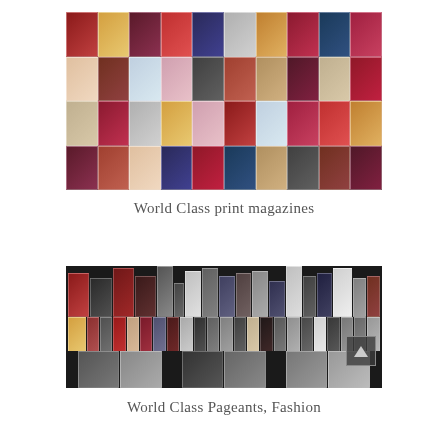[Figure (photo): Collage of world class print magazine covers featuring celebrities, fashion, and entertainment publications arranged in a grid of approximately 4 rows and 10 columns]
World Class print magazines
[Figure (photo): Collage of world class pageants and fashion images displayed on a dark background, with rows of thumbnails and a scroll/navigation arrow button visible in the lower right]
World Class Pageants, Fashion